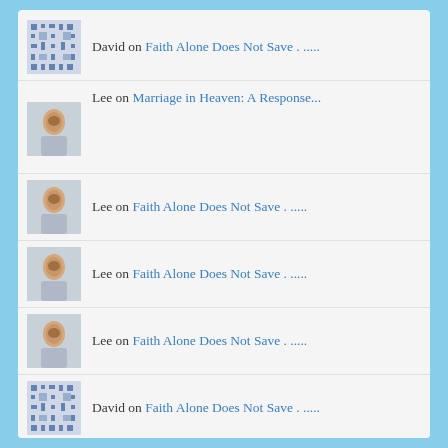David on Faith Alone Does Not Save . .....
Lee on Marriage in Heaven: A Response...
Lee on Faith Alone Does Not Save . .....
Lee on Faith Alone Does Not Save . .....
Lee on Faith Alone Does Not Save . .....
David on Faith Alone Does Not Save . .....
David on Faith Alone Does Not Save . .....
Ben Copeland on Faith Alone Does Not Save . .....
Lee on Faith Alone Does Not Save . .....